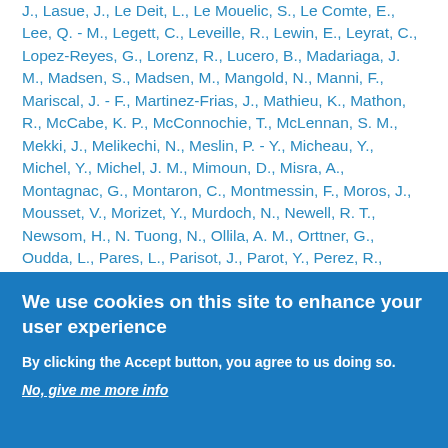J., Lasue, J., Le Deit, L., Le Mouelic, S., Le Comte, E., Lee, Q. - M., Legett, C., Leveille, R., Lewin, E., Leyrat, C., Lopez-Reyes, G., Lorenz, R., Lucero, B., Madariaga, J. M., Madsen, S., Madsen, M., Mangold, N., Manni, F., Mariscal, J. - F., Martinez-Frias, J., Mathieu, K., Mathon, R., McCabe, K. P., McConnochie, T., McLennan, S. M., Mekki, J., Melikechi, N., Meslin, P. - Y., Micheau, Y., Michel, Y., Michel, J. M., Mimoun, D., Misra, A., Montagnac, G., Montaron, C., Montmessin, F., Moros, J., Mousset, V., Morizet, Y., Murdoch, N., Newell, R. T., Newsom, H., N. Tuong, N., Ollila, A. M., Orttner, G., Oudda, L., Pares, L., Parisot, J., Parot, Y., Perez, R., Pheav, D., Picot, L., Pilleri, P., Pilorget, C., Pinet, P., Pont, G., Poulet, F., Quantin-Nataf, C., Quertier, B., Rambaud, D., Rapin, W., Romano,
We use cookies on this site to enhance your user experience
By clicking the Accept button, you agree to us doing so.
No, give me more info